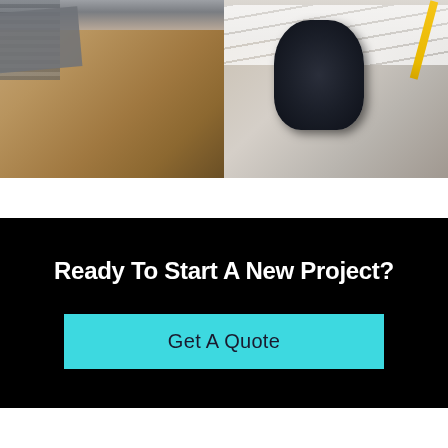[Figure (photo): Two side-by-side photos: left photo shows a cardboard surface with corner texture/grid pattern and a gray material; right photo shows a dark navy item (hood or cap) on a desk with papers and a pencil]
Ready To Start A New Project?
Get A Quote